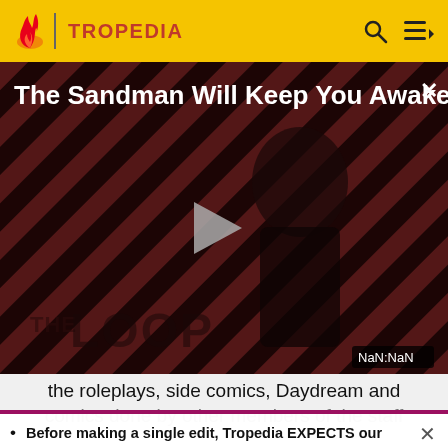TROPEDIA
[Figure (screenshot): Video player showing 'The Sandman Will Keep You Awake...' with a dark figure on a striped red/black background, THE LOOP branding at bottom, play button in center, NaN:NaN timer, and close X button.]
the roleplays, side comics, Daydream and
comics done by other members of the staff
Before making a single edit, Tropedia EXPECTS our site policy and manual of style to be followed. Failure to do so may
READ MORE